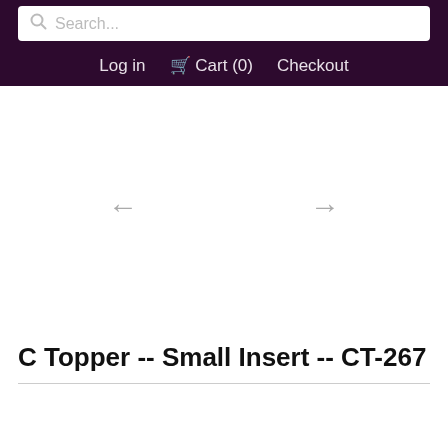Search... Log in  Cart (0)  Checkout
[Figure (other): Product image area with left and right navigation arrows on a white background. No product image is currently shown.]
C Topper -- Small Insert -- CT-267